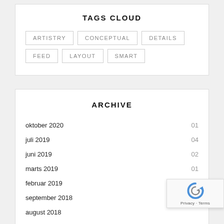TAGS CLOUD
ARTISTRY
CONCEPTUAL
DETAILS
FEED
LAYOUT
SMART
ARCHIVE
oktober 2020    01
juli 2019    04
juni 2019    02
marts 2019    01
februar 2019    06
september 2018
august 2018